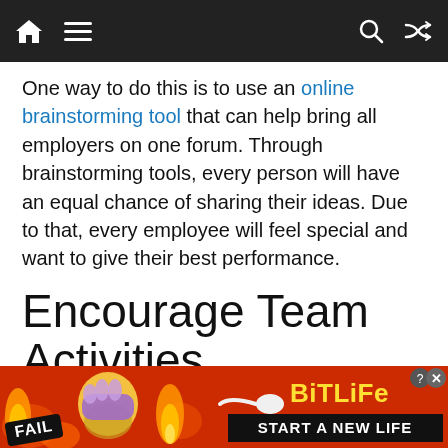Navigation bar with home, menu, search, and shuffle icons
One way to do this is to use an online brainstorming tool that can help bring all employers on one forum. Through brainstorming tools, every person will have an equal chance of sharing their ideas. Due to that, every employee will feel special and want to give their best performance.
Encourage Team Activities
It's also good to organize multiple team activities
[Figure (screenshot): Advertisement banner for BitLife game — red/orange background with flame graphics, facepalm emoji character, FAIL badge, sperm icon, BitLife logo in yellow, and 'START A NEW LIFE' call to action in black bar. Close (x) and info (?) icons top right.]